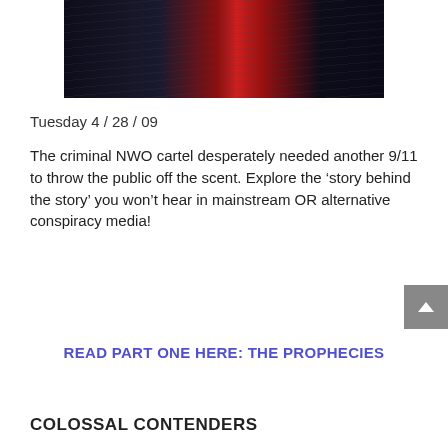[Figure (photo): Close-up of a man in a dark pinstripe suit with a dark red/crimson patterned tie and white dress shirt.]
Tuesday 4 / 28 / 09
The criminal NWO cartel desperately needed another 9/11 to throw the public off the scent. Explore the ‘story behind the story’ you won’t hear in mainstream OR alternative conspiracy media!
READ PART ONE HERE: THE PROPHECIES
COLOSSAL CONTENDERS